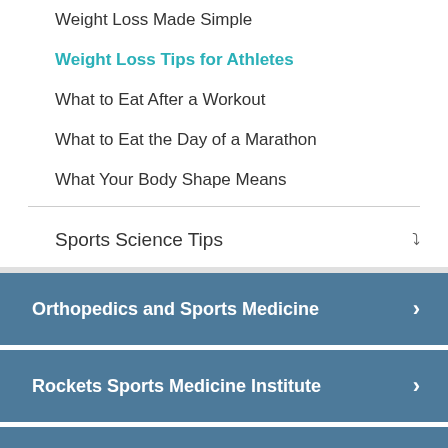Weight Loss Made Simple
Weight Loss Tips for Athletes
What to Eat After a Workout
What to Eat the Day of a Marathon
What Your Body Shape Means
Sports Science Tips
Orthopedics and Sports Medicine
Rockets Sports Medicine Institute
Physical Therapy